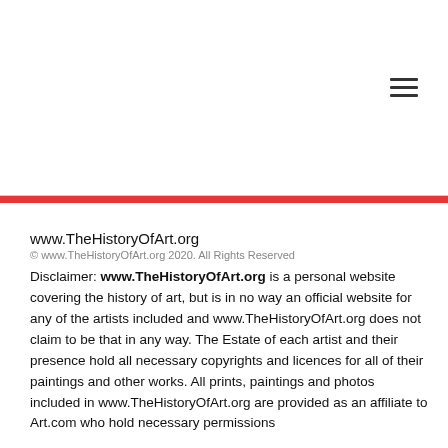[Figure (other): Hamburger menu icon (three horizontal bars) in top right area of page header]
www.TheHistoryOfArt.org
© www.TheHistoryOfArt.org 2020. All Rights Reserved
Disclaimer: www.TheHistoryOfArt.org is a personal website covering the history of art, but is in no way an official website for any of the artists included and www.TheHistoryOfArt.org does not claim to be that in any way. The Estate of each artist and their presence hold all necessary copyrights and licences for all of their paintings and other works. All prints, paintings and photos included in www.TheHistoryOfArt.org are provided as an affiliate to Art.com who hold necessary permissions